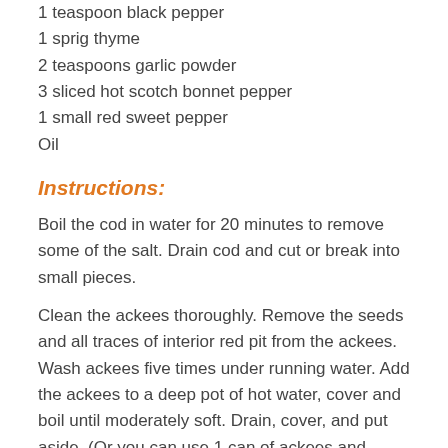1 teaspoon black pepper
1 sprig thyme
2 teaspoons garlic powder
3 sliced hot scotch bonnet pepper
1 small red sweet pepper
Oil
Instructions:
Boil the cod in water for 20 minutes to remove some of the salt. Drain cod and cut or break into small pieces.
Clean the ackees thoroughly. Remove the seeds and all traces of interior red pit from the ackees. Wash ackees five times under running water. Add the ackees to a deep pot of hot water, cover and boil until moderately soft. Drain, cover, and put aside. (Or you can use 1 can of ackees and